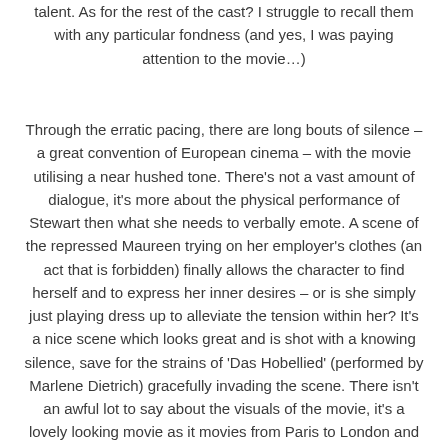talent. As for the rest of the cast? I struggle to recall them with any particular fondness (and yes, I was paying attention to the movie…)
Through the erratic pacing, there are long bouts of silence – a great convention of European cinema – with the movie utilising a near hushed tone. There's not a vast amount of dialogue, it's more about the physical performance of Stewart then what she needs to verbally emote. A scene of the repressed Maureen trying on her employer's clothes (an act that is forbidden) finally allows the character to find herself and to express her inner desires – or is she simply just playing dress up to alleviate the tension within her? It's a nice scene which looks great and is shot with a knowing silence, save for the strains of 'Das Hobellied' (performed by Marlene Dietrich) gracefully invading the scene. There isn't an awful lot to say about the visuals of the movie, it's a lovely looking movie as it movies from Paris to London and Oman.